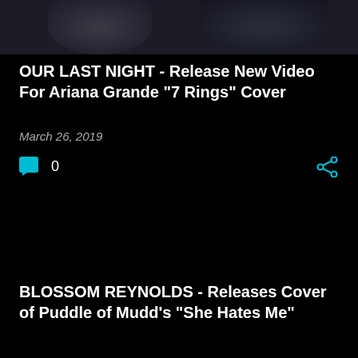[Figure (photo): Partial photo of people at the top of the page, dark background, showing torsos/shoulders]
OUR LAST NIGHT - Release New Video For Ariana Grande "7 Rings" Cover
March 26, 2019
0
BLOSSOM REYNOLDS - Releases Cover of Puddle of Mudd's "She Hates Me"